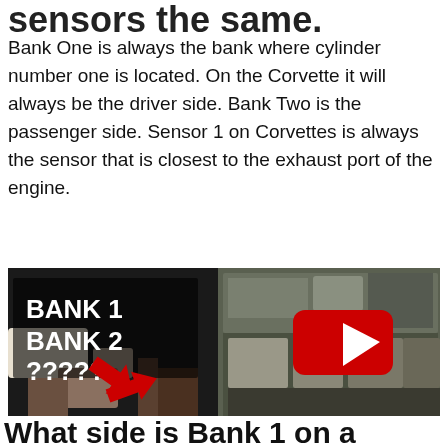sensors the same.
Bank One is always the bank where cylinder number one is located. On the Corvette it will always be the driver side. Bank Two is the passenger side. Sensor 1 on Corvettes is always the sensor that is closest to the exhaust port of the engine.
[Figure (photo): YouTube video thumbnail showing a car engine bay with red arrows pointing to oxygen sensors, overlaid text reading 'BANK 1 BANK 2 ?????' on left half and a YouTube play button on right half.]
What side is Bank 1 on a